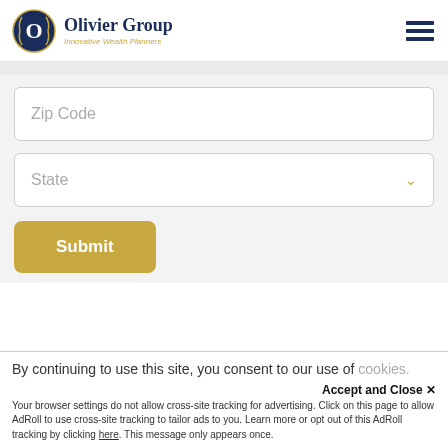[Figure (logo): Olivier Group logo — circular navy/gold emblem with wheat wreath and letter O, with company name and tagline 'Innovative Wealth Planners']
Olivier Group
Innovative Wealth Planners
Zip Code
State
Submit
By continuing to use this site, you consent to our use of cookies.
Accept and Close ✕
Your browser settings do not allow cross-site tracking for advertising. Click on this page to allow AdRoll to use cross-site tracking to tailor ads to you. Learn more or opt out of this AdRoll tracking by clicking here. This message only appears once.